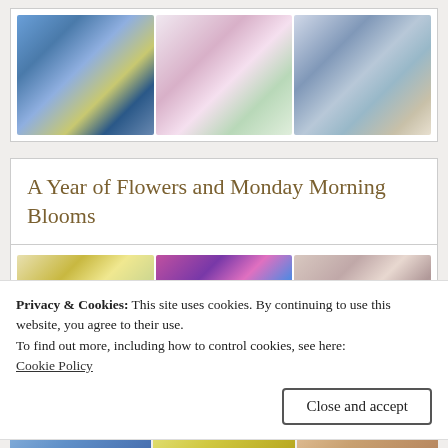[Figure (photo): Three flower arrangement photos side by side: blue hyacinths with daffodils in a box, pink peonies in a glass vase, blue hydrangeas in a watering can]
A Year of Flowers and Monday Morning Blooms
[Figure (photo): Three flower photos side by side: white narcissus arrangement, pink and purple mixed flowers, flowers on a table setting]
Privacy & Cookies: This site uses cookies. By continuing to use this website, you agree to their use.
To find out more, including how to control cookies, see here:
Cookie Policy
Close and accept
[Figure (photo): Bottom strip with three flower photos: blue flowers, yellow flowers, peach/orange flowers]